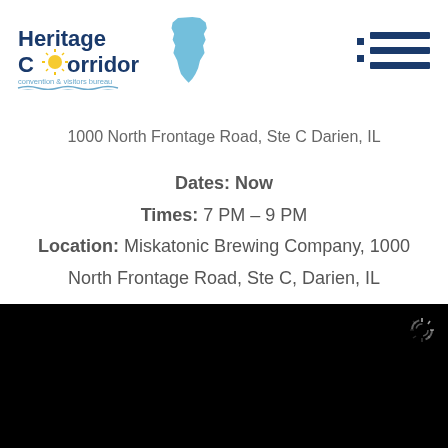[Figure (logo): Heritage Corridor Convention & Visitors Bureau logo with Illinois state outline and sun icon]
1000 North Frontage Road, Ste C Darien, IL
Dates: Now
Times: 7 PM – 9 PM
Location: Miskatonic Brewing Company, 1000 North Frontage Road, Ste C, Darien, IL
[Figure (photo): Dark/black image section with loading spinner icon in top right corner]